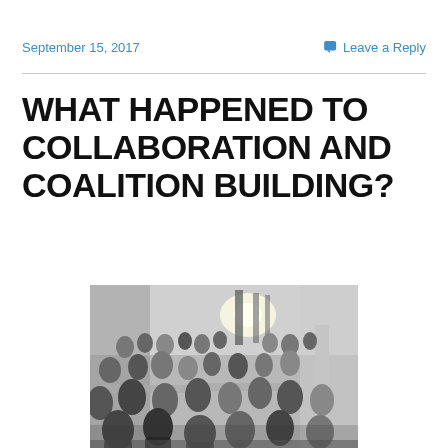September 15, 2017
Leave a Reply
WHAT HAPPENED TO COLLABORATION AND COALITION BUILDING?
[Figure (photo): Black and white photograph of a large crowd of people seated at tables in a banquet or meeting hall setting, with bright lights in the background and people in the foreground.]